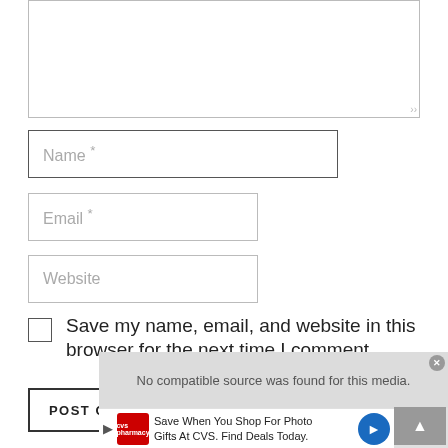[Figure (screenshot): Textarea input box (comment field), partially visible at top of page]
Name *
Email *
Website
Save my name, email, and website in this browser for the next time I comment.
POST COMMENT
[Figure (screenshot): Video player overlay with message 'No compatible source was found for this media.' and gray play button. Below is a CVS pharmacy advertisement banner: 'Save When You Shop For Photo Gifts At CVS. Find Deals Today.' with navigation arrow icon.]